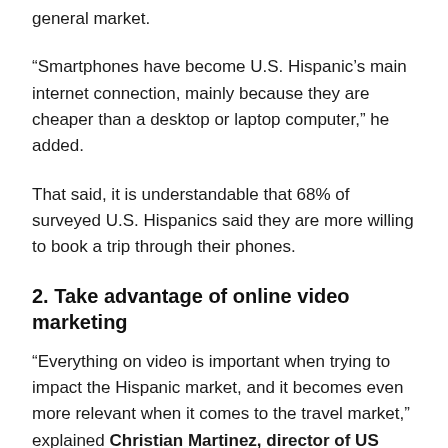general market.
“Smartphones have become U.S. Hispanic’s main internet connection, mainly because they are cheaper than a desktop or laptop computer,” he added.
That said, it is understandable that 68% of surveyed U.S. Hispanics said they are more willing to book a trip through their phones.
2. Take advantage of online video marketing
“Everything on video is important when trying to impact the Hispanic market, and it becomes even more relevant when it comes to the travel market,” explained Christian Martinez, director of US Multicultural at Facebook.
3. Focus your ads on Hispanic culture